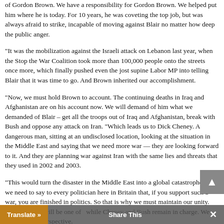of Gordon Brown. We have a responsibility for Gordon Brown. We helped put him where he is today. For 10 years, he was coveting the top job, but was always afraid to strike, incapable of moving against Blair no matter how deep the public anger.
"It was the mobilization against the Israeli attack on Lebanon last year, when the Stop the War Coalition took more than 100,000 people onto the streets once more, which finally pushed even the jost supine Labor MP into telling Blair that it was time to go. And Brown inherited our accomplishment.
"Now, we must hold Brown to account. The continuing deaths in Iraq and Afghanistan are on his account now. We will demand of him what we demanded of Blair – get all the troops out of Iraq and Afghanistan, break with Bush and oppose any attack on Iran. "Which leads us to Dick Cheney. A dangerous man, sitting at an undisclosed location, looking at the situation in the Middle East and saying that we need more war — they are looking forward to it. And they are planning war against Iran with the same lies and threats that they used in 2002 and 2003.
"This would turn the disaster in the Middle East into a global catastrophe and we need to say to every politician here in Britain that, if you support such a war, you are finished in politics. So that is why we must maintain our unity. The next year will be one of ... while Cheney and Bush remain in charge. We ... perspective.
Translate »   Share This   ✕